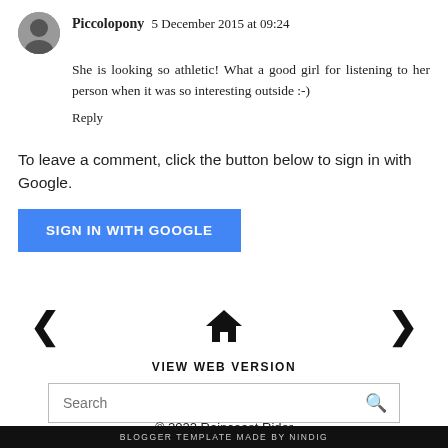[Figure (photo): Small circular avatar photo of user Piccolopony]
Piccolopony 5 December 2015 at 09:24
She is looking so athletic! What a good girl for listening to her person when it was so interesting outside :-)
Reply
To leave a comment, click the button below to sign in with Google.
SIGN IN WITH GOOGLE
[Figure (illustration): Left arrow navigation icon]
[Figure (illustration): Home icon (house silhouette)]
[Figure (illustration): Right arrow navigation icon]
VIEW WEB VERSION
Search
© 2022 Raincoast Rider
BLOGGER TEMPLATE MADE BY nindig